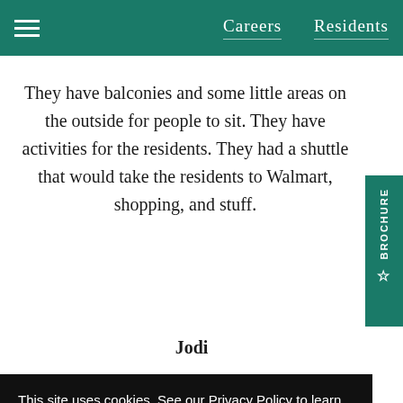Careers   Residents
They have balconies and some little areas on the outside for people to sit. They have activities for the residents. They had a shuttle that would take the residents to Walmart, shopping, and stuff.
Jodi
This site uses cookies. See our Privacy Policy to learn more.
Okay, Got it